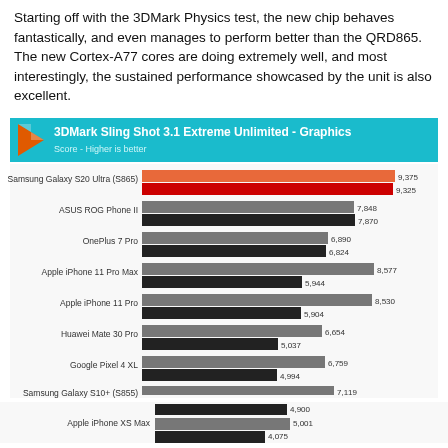Starting off with the 3DMark Physics test, the new chip behaves fantastically, and even manages to perform better than the QRD865. The new Cortex-A77 cores are doing extremely well, and most interestingly, the sustained performance showcased by the unit is also excellent.
[Figure (bar-chart): 3DMark Sling Shot 3.1 Extreme Unlimited - Graphics]